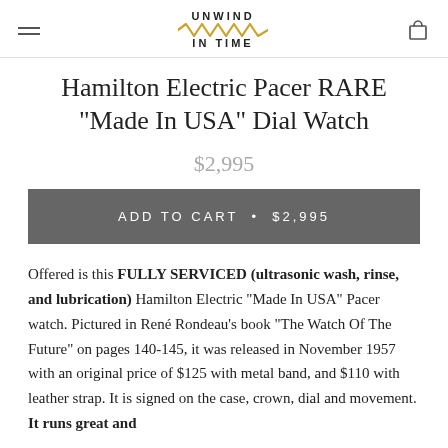UNWIND IN TIME
Hamilton Electric Pacer RARE "Made In USA" Dial Watch
$2,995
ADD TO CART • $2,995
Offered is this FULLY SERVICED (ultrasonic wash, rinse, and lubrication) Hamilton Electric "Made In USA" Pacer watch. Pictured in René Rondeau's book "The Watch Of The Future" on pages 140-145, it was released in November 1957 with an original price of $125 with metal band, and $110 with leather strap. It is signed on the case, crown, dial and movement. It runs great and